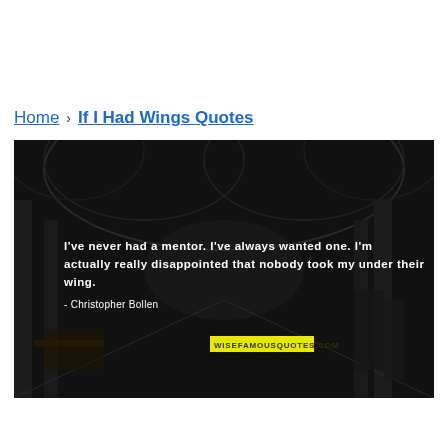Home › If I Had Wings Quotes
[Figure (photo): Dark interior photo of a gothic cathedral hallway with arched ceilings, overlaid with white bold text quote: "I've never had a mentor. I've always wanted one. I'm actually really disappointed that nobody took my under their wing. - Christopher Bollen" and a yellow watermark label reading WISEFAMOUSQUOTES.COM]